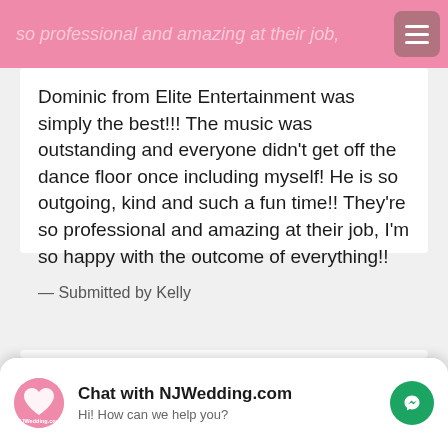so professional and amazing at their job,
Dominic from Elite Entertainment was simply the best!!! The music was outstanding and everyone didn't get off the dance floor once including myself! He is so outgoing, kind and such a fun time!! They're so professional and amazing at their job, I'm so happy with the outcome of everything!!
— Submitted by Kelly
[Figure (other): Five gold star rating]
Elite Entertainment was amazing
Chat with NJWedding.com
Hi! How can we help you?
so you can add whatever you want to